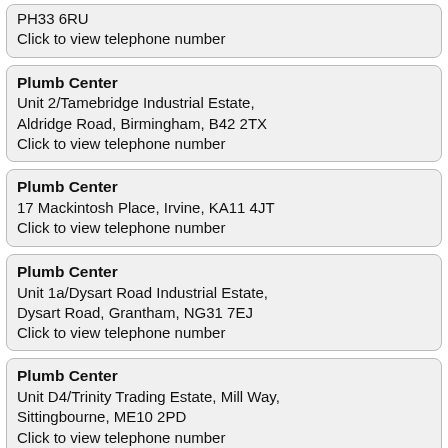PH33 6RU
Click to view telephone number
Plumb Center
Unit 2/Tamebridge Industrial Estate, Aldridge Road, Birmingham, B42 2TX
Click to view telephone number
Plumb Center
17 Mackintosh Place, Irvine, KA11 4JT
Click to view telephone number
Plumb Center
Unit 1a/Dysart Road Industrial Estate, Dysart Road, Grantham, NG31 7EJ
Click to view telephone number
Plumb Center
Unit D4/Trinity Trading Estate, Mill Way, Sittingbourne, ME10 2PD
Click to view telephone number